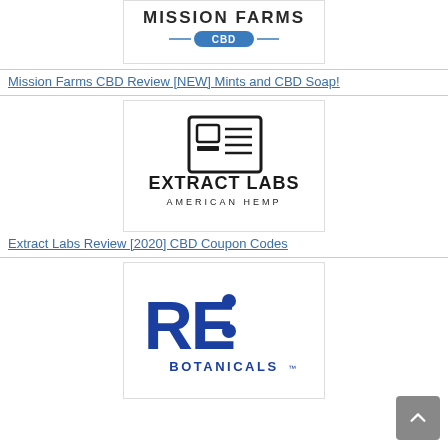[Figure (logo): Mission Farms CBD logo - partially visible at top]
Mission Farms CBD Review [NEW] Mints and CBD Soap!
[Figure (logo): Extract Labs American Hemp logo - black geometric icon above bold text EXTRACT LABS / AMERICAN HEMP]
Extract Labs Review [2020] CBD Coupon Codes
[Figure (logo): RE: Botanicals logo - bold blue RE: letters with BOTANICALS in blue below]